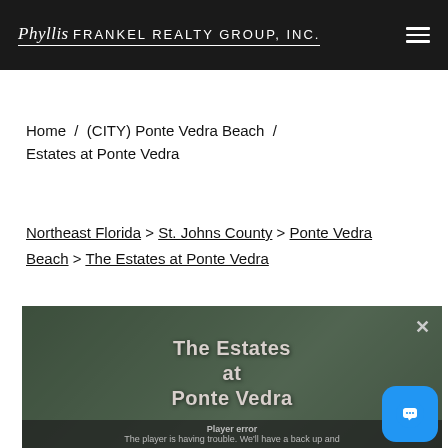Phyllis FRANKEL REALTY GROUP, INC.
Home  /  (CITY) Ponte Vedra Beach  /  Estates at Ponte Vedra
Northeast Florida > St. Johns County > Ponte Vedra Beach > The Estates at Ponte Vedra
[Figure (screenshot): Video player showing 'The Estates at Ponte Vedra' with a player error message overlay: 'The player is having trouble. We'll have a back up and...' and a close (X) button. A blue chat button with a message icon appears in the lower right.]